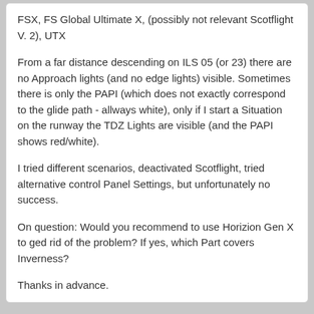FSX, FS Global Ultimate X, (possibly not relevant Scotflight V. 2), UTX
From a far distance descending on ILS 05 (or 23) there are no Approach lights (and no edge lights) visible. Sometimes there is only the PAPI (which does not exactly correspond to the glide path - allways white), only if I start a Situation on the runway the TDZ Lights are visible (and the PAPI shows red/white).
I tried different scenarios, deactivated Scotflight, tried alternative control Panel Settings, but unfortunately no success.
On question: Would you recommend to use Horizion Gen X to ged rid of the problem? If yes, which Part covers Inverness?
Thanks in advance.
Paul Webster
06 Jan 2014
Hi,
Can i get a screen shot of just before the light are visible please as the bug only affects P3Dv2 and you list FSX, also have the coordinates visible http://forum.sim720...t-a-screenshot/